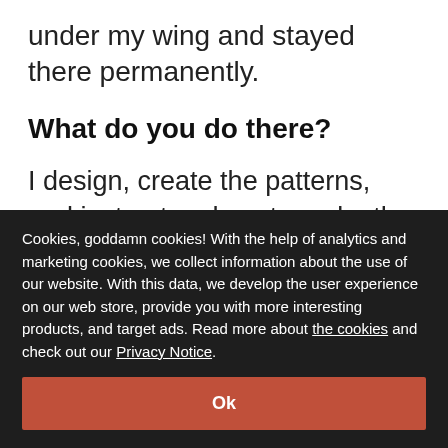under my wing and stayed there permanently.
What do you do there?
I design, create the patterns, and instruct on how to make the final products. The product category manager tells me what kind of products we need and together we think how they should look and what kind of details they should have. After this, I
Cookies, goddamn cookies! With the help of analytics and marketing cookies, we collect information about the use of our website. With this data, we develop the user experience on our web store, provide you with more interesting products, and target ads. Read more about the cookies and check out our Privacy Notice.
Ok